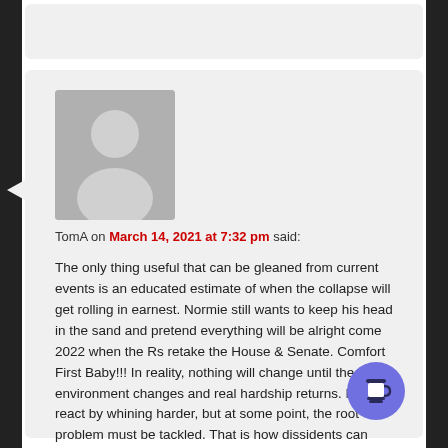TomA on March 14, 2021 at 7:32 pm said:
The only thing useful that can be gleaned from current events is an educated estimate of when the collapse will get rolling in earnest. Normie still wants to keep his head in the sand and pretend everything will be alright come 2022 when the Rs retake the House & Senate. Comfort First Baby!!! In reality, nothing will change until the environment changes and real hardship returns. Most will react by whining harder, but at some point, the root problem must be tackled. That is how dissidents can make a difference. That is the road to redemption & salvation.